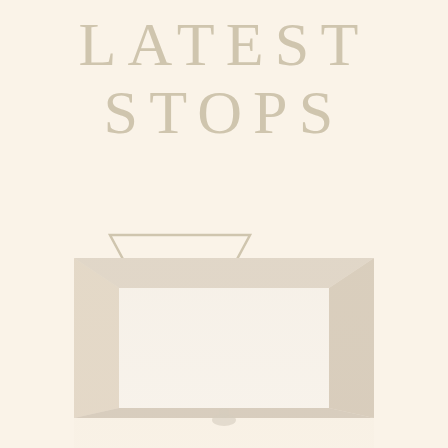LATEST STOPS
[Figure (logo): Inverted triangle outline with a compass rose circle icon inside, rendered in muted beige/tan tones]
[Figure (photo): Faded photo of a wooden frame or doorway structure, very light and washed out, with a small figure visible at the bottom center]